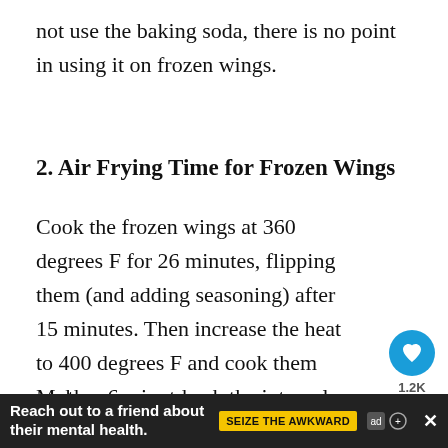not use the baking soda, there is no point in using it on frozen wings.
2. Air Frying Time for Frozen Wings
Cook the frozen wings at 360 degrees F for 26 minutes, flipping them (and adding seasoning) after 15 minutes. Then increase the heat to 400 degrees F and cook them another 6 minutes.
Make sure you check the internal
[Figure (screenshot): Social sidebar with heart/like button showing 1.2K count and share button]
[Figure (screenshot): What's Next widget showing Air Fryer Ranch... with thumbnail]
[Figure (screenshot): Ad banner: Reach out to a friend about their mental health. SEIZE THE AWKWARD with close button]